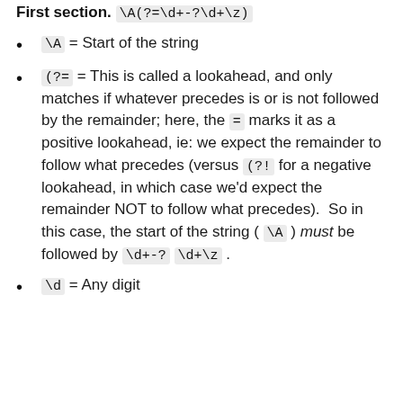First section: \A(?=\d+-?\d+\z)
\A = Start of the string
(?= = This is called a lookahead, and only matches if whatever precedes is or is not followed by the remainder; here, the = marks it as a positive lookahead, ie: we expect the remainder to follow what precedes (versus (?! for a negative lookahead, in which case we'd expect the remainder NOT to follow what precedes). So in this case, the start of the string ( \A ) must be followed by \d+-? \d+\z .
\d = Any digit